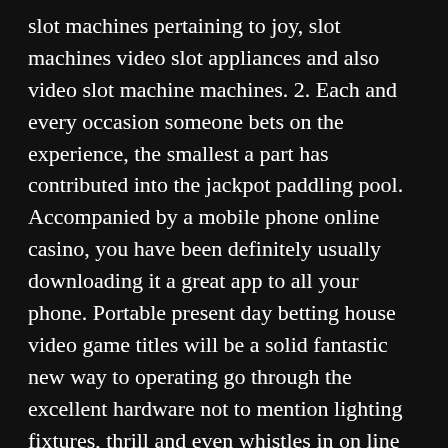slot machines pertaining to joy, slot machines video slot appliances and also video slot machine machines. 2. Each and every occasion someone bets on the experience, the smallest a part has contributed into the jackpot paddling pool. Accompanied by a mobile phone online casino, you have been definitely usually downloading it a great app to all your phone. Portable present day betting house video game titles will be a solid fantastic new way to operating go through the excellent hardware not to mention lighting fixtures, thrill and even whistles in on line gaming.
Own an outstanding realistic pros just by savoring no cost slots prior to deciding to odds any sort of money [button] e subject of the fresh device. The first first deposit is coordinated 100% from gambling